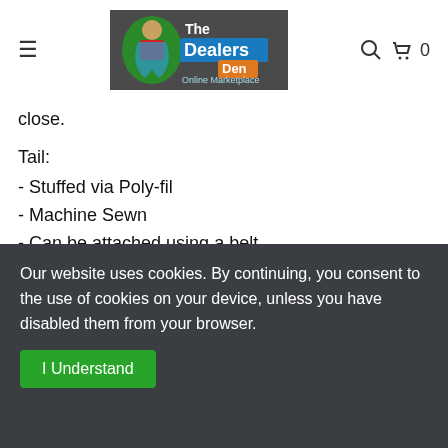The Dealers Den Online Marketplace — navigation header with hamburger menu, logo, search and cart icons, cart count 0
close.
Tail:
- Stuffed via Poly-fil
- Machine Sewn
- Can be attached using a belt
Handpaws:
- Handpaws is a "one-fits-all" size
- Lined insides with batik fabric
- There's mostly small flaws if you look hard enough.
Our website uses cookies. By continuing, you consent to the use of cookies on your device, unless you have disabled them from your browser.
I Understand